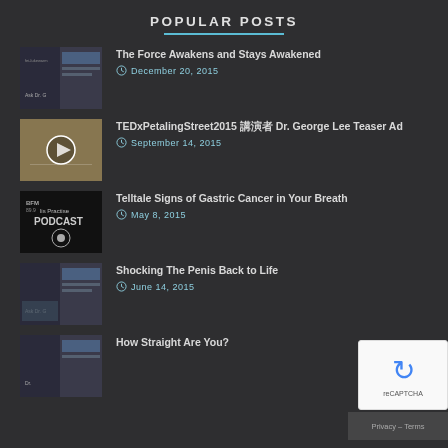POPULAR POSTS
The Force Awakens and Stays Awakened — December 20, 2015
TEDxPetalingStreet2015 講演者 Dr. George Lee Teaser Ad — September 14, 2015
Telltale Signs of Gastric Cancer in Your Breath — May 8, 2015
Shocking The Penis Back to Life — June 14, 2015
How Straight Are You?